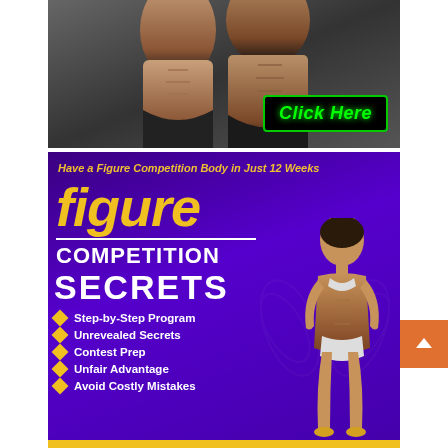[Figure (photo): Top fitness advertisement showing muscular male and female torsos in black swimwear with a 'Click Here' green button overlay on dark gradient background]
[Figure (infographic): Purple 'Figure Competition Secrets' advertisement with large yellow 'figure' text, white 'COMPETITION SECRETS' text, bullet list of features (Step-by-Step Program, Unrevealed Secrets, Contest Prep, Unfair Advantage, Avoid Costly Mistakes), and a female fitness competitor photo on the right. Header text: 'Have a Figure Competition Body in Just 12 Weeks']